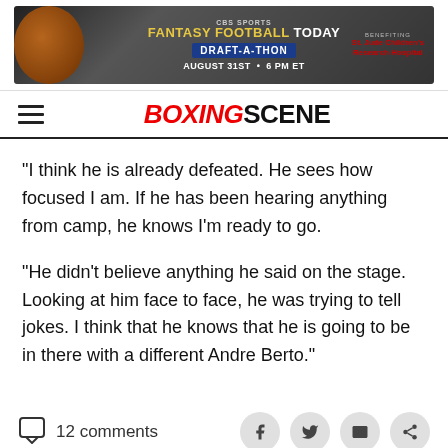[Figure (screenshot): CBS Sports Fantasy Football Today Draft-A-Thon advertisement banner, August 31st 6 PM ET, benefiting St. Jude Children's Research Hospital]
BOXINGSCENE
"I think he is already defeated. He sees how focused I am. If he has been hearing anything from camp, he knows I'm ready to go.
"He didn't believe anything he said on the stage. Looking at him face to face, he was trying to tell jokes. I think that he knows that he is going to be in there with a different Andre Berto."
12 comments